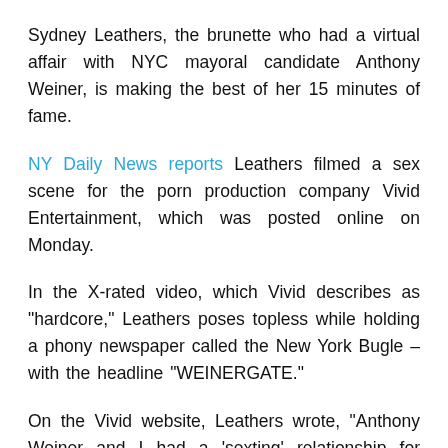Sydney Leathers, the brunette who had a virtual affair with NYC mayoral candidate Anthony Weiner, is making the best of her 15 minutes of fame.
NY Daily News reports Leathers filmed a sex scene for the porn production company Vivid Entertainment, which was posted online on Monday.
In the X-rated video, which Vivid describes as "hardcore," Leathers poses topless while holding a phony newspaper called the New York Bugle – with the headline "WEINERGATE."
On the Vivid website, Leathers wrote, "Anthony Weiner and I had a 'sexting' relationship for several months, and that came out in the press, so here I am!